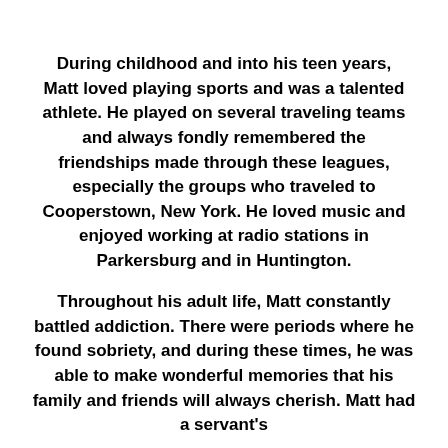During childhood and into his teen years, Matt loved playing sports and was a talented athlete. He played on several traveling teams and always fondly remembered the friendships made through these leagues, especially the groups who traveled to Cooperstown, New York. He loved music and enjoyed working at radio stations in Parkersburg and in Huntington.
Throughout his adult life, Matt constantly battled addiction. There were periods where he found sobriety, and during these times, he was able to make wonderful memories that his family and friends will always cherish. Matt had a servant's